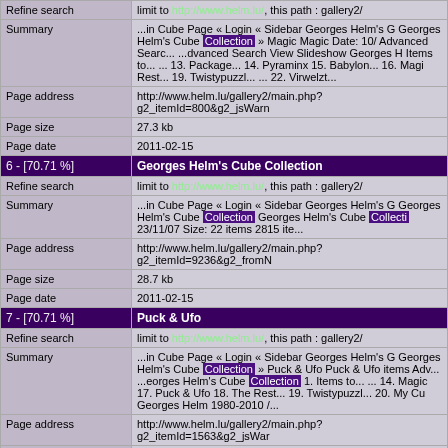| Field | Value |
| --- | --- |
| Refine search | limit to http://www.helm.lu/, this path : gallery2/ |
| Summary | ...in Cube Page &laquo; Login &laquo; Sidebar Georges Helm's G Georges Helm's Cube Collection &raquo; Magic Magic Date: 10/ Advanced Searc... ...dvanced Search View Slideshow Georges H Items to... ... 13. Package... 14. Pyraminx 15. Babylon... 16. Magi Rest... 19. Twistypuzzl... ... 22. Virwelzt... |
| Page address | http://www.helm.lu/gallery2/main.php?g2_itemId=800&g2_jsWarn |
| Page size | 27.3 kb |
| Page date | 2011-02-15 |
| 6 - [70.71 %] | Georges Helm's Cube Collection |
| Refine search | limit to http://www.helm.lu/, this path : gallery2/ |
| Summary | ...in Cube Page &laquo; Login &laquo; Sidebar Georges Helm's G Georges Helm's Cube Collection Georges Helm's Cube Collecti 23/11/07 Size: 22 items 2815 ite... |
| Page address | http://www.helm.lu/gallery2/main.php?g2_itemId=9236&g2_fromN |
| Page size | 28.7 kb |
| Page date | 2011-02-15 |
| 7 - [70.71 %] | Puck & Ufo |
| Refine search | limit to http://www.helm.lu/, this path : gallery2/ |
| Summary | ...in Cube Page &laquo; Login &laquo; Sidebar Georges Helm's G Georges Helm's Cube Collection &raquo; Puck & Ufo Puck & Ufo items Adv... ...eorges Helm's Cube Collection 1. Items to... ... 14. Magic 17. Puck & Ufo 18. The Rest... 19. Twistypuzzl... 20. My Cu Georges Helm 1980-2010 /... |
| Page address | http://www.helm.lu/gallery2/main.php?g2_itemId=1563&g2_jsWar |
| Page size | 25.4 kb |
| Page date | 2011-02-15 |
| 8 - [70.71 %] | New Items |
| Refine search | limit to http://www.helm.lu/, this path : gallery2/ |